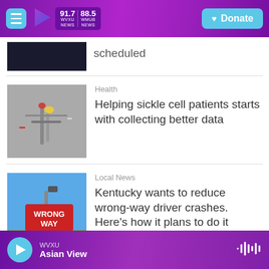WVXU 91.7 NEWS / WMUB 88.5 NEWS | Donate
scheduled
Health
Helping sickle cell patients starts with collecting better data
Local News
Kentucky wants to reduce wrong-way driver crashes. Here's how it plans to do it
WVXU | Asian View